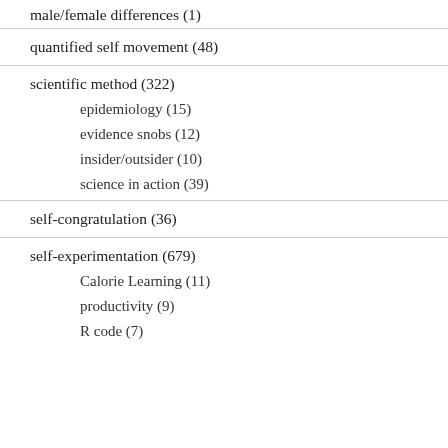male/female differences (1)
quantified self movement (48)
scientific method (322)
epidemiology (15)
evidence snobs (12)
insider/outsider (10)
science in action (39)
self-congratulation (36)
self-experimentation (679)
Calorie Learning (11)
productivity (9)
R code (7)